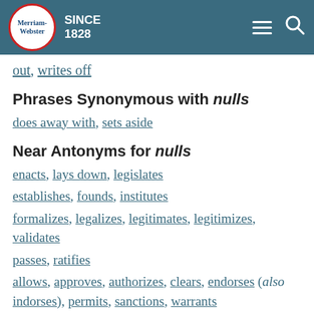Merriam-Webster SINCE 1828
out, writes off
Phrases Synonymous with nulls
does away with, sets aside
Near Antonyms for nulls
enacts, lays down, legislates
establishes, founds, institutes
formalizes, legalizes, legitimates, legitimizes, validates
passes, ratifies
allows, approves, authorizes, clears, endorses (also indorses), permits, sanctions, warrants
commands, decrees, mandates, orders, prescribes